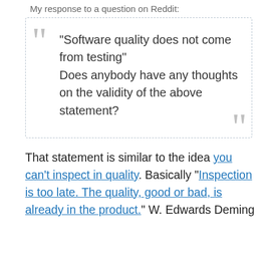My response to a question on Reddit:
“Software quality does not come from testing” Does anybody have any thoughts on the validity of the above statement?
That statement is similar to the idea you can’t inspect in quality. Basically “Inspection is too late. The quality, good or bad, is already in the product.” W. Edwards Deming